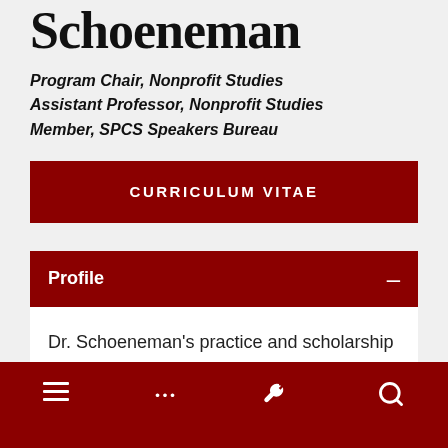Schoeneman
Program Chair, Nonprofit Studies
Assistant Professor, Nonprofit Studies
Member, SPCS Speakers Bureau
CURRICULUM VITAE
Profile
Dr. Schoeneman's practice and scholarship are in the areas of community engagement, structural